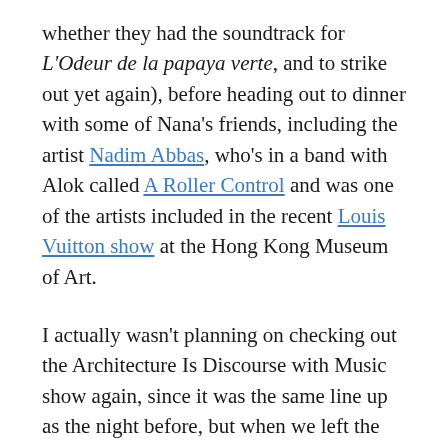whether they had the soundtrack for L'Odeur de la papaya verte, and to strike out yet again), before heading out to dinner with some of Nana's friends, including the artist Nadim Abbas, who's in a band with Alok called A Roller Control and was one of the artists included in the recent Louis Vuitton show at the Hong Kong Museum of Art.
I actually wasn't planning on checking out the Architecture Is Discourse with Music show again, since it was the same line up as the night before, but when we left the restaurant, the streets were all cordoned off for the National Day fireworks over the harbor (on my previous trip to Hong Kong I had watched the fireworks